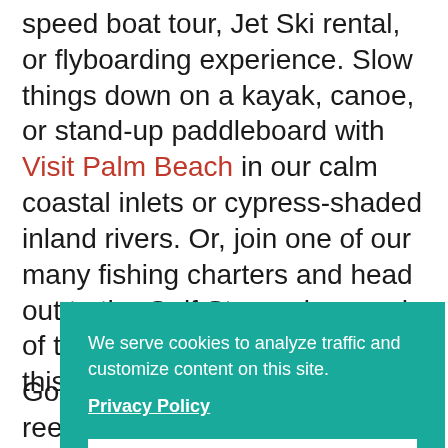speed boat tour, Jet Ski rental, or flyboarding experience. Slow things down on a kayak, canoe, or stand-up paddleboard with Visit Palm Beach in our calm coastal inlets or cypress-shaded inland rivers. Or, join one of our many fishing charters and head out to the Gulf Stream in search of the big one (they don't call this Sailfish Alley for anything).
We serve cookies to analyze traffic and customize content on this site.
Privacy Policy
Got it!
Go...
ree...
div...
and...
Tra...
Tequesta. Experienced divers can venture...